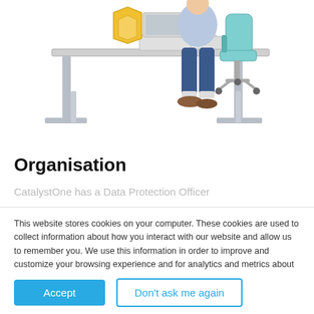[Figure (illustration): Illustration of a person sitting at a height-adjustable desk with a laptop. A yellow shield icon is visible on the desk. The person is wearing blue jeans and brown shoes. A teal office chair is visible behind them.]
Organisation
CatalystOne has a Data Protection Officer
This website stores cookies on your computer. These cookies are used to collect information about how you interact with our website and allow us to remember you. We use this information in order to improve and customize your browsing experience and for analytics and metrics about our visitors both on this website and other media. To find out more about the cookies we use, see our Privacy Policy.